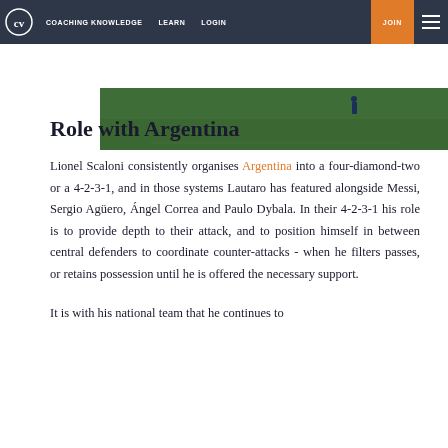CV | COACHING KNOWLEDGE | LEARN | LOGIN | JOIN
[Figure (photo): Partial view of a football/soccer pitch with a player visible in the distance against green grass]
Role with Argentina
Lionel Scaloni consistently organises Argentina into a four-diamond-two or a 4-2-3-1, and in those systems Lautaro has featured alongside Messi, Sergio Agüero, Ángel Correa and Paulo Dybala. In their 4-2-3-1 his role is to provide depth to their attack, and to position himself in between central defenders to coordinate counter-attacks - when he filters passes, or retains possession until he is offered the necessary support.
It is with his national team that he continues to